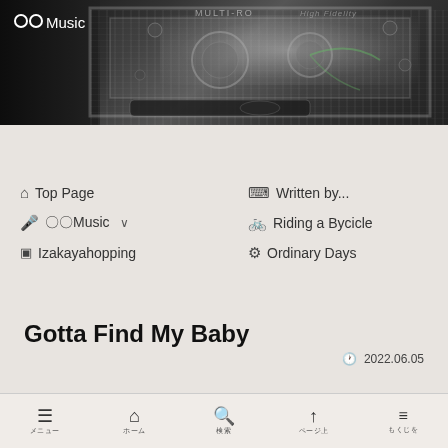[Figure (photo): Black and white photo of a music machine interior with rotating mechanisms, labeled MULTI-ROLL and High Fidelity. OOMusic logo in white top left.]
🏠 Top Page
⌨ Written by...
🎤 〇〇Music ∨
🚲 Riding a Bycicle
🁐 Izakayahopping
⚙ Ordinary Days
Gotta Find My Baby
🕐 2022.06.05
[Figure (photo): Black and white photo of gears, keys and mechanical parts.]
≡ 🏠 🔍 ↑ ≡ (navigation icons with labels)